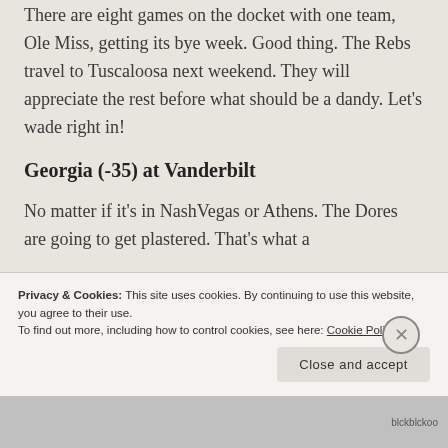There are eight games on the docket with one team, Ole Miss, getting its bye week. Good thing. The Rebs travel to Tuscaloosa next weekend. They will appreciate the rest before what should be a dandy. Let's wade right in!
Georgia (-35) at Vanderbilt
No matter if it's in NashVegas or Athens. The Dores are going to get plastered. That's what a
Privacy & Cookies:  This site uses cookies. By continuing to use this website, you agree to their use.
To find out more, including how to control cookies, see here: Cookie Policy
Close and accept